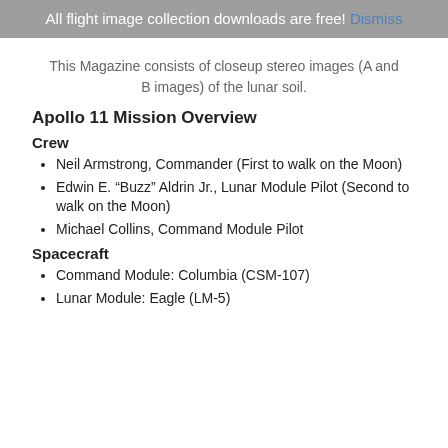All flight image collection downloads are free! Dismiss
This Magazine consists of closeup stereo images (A and B images) of the lunar soil.
Apollo 11 Mission Overview
Crew
Neil Armstrong, Commander (First to walk on the Moon)
Edwin E. “Buzz” Aldrin Jr., Lunar Module Pilot (Second to walk on the Moon)
Michael Collins, Command Module Pilot
Spacecraft
Command Module: Columbia (CSM-107)
Lunar Module: Eagle (LM-5)